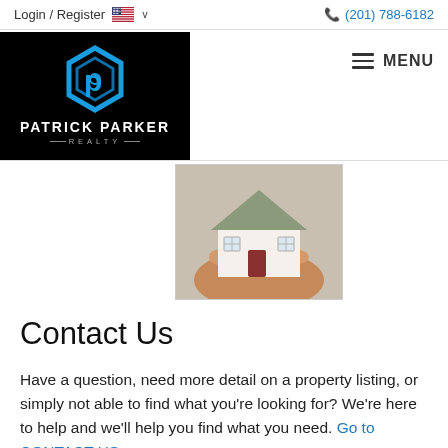Login / Register   🇺🇸 ∨   (201) 788-6182
[Figure (logo): Patrick Parker Realty logo — hexagonal blue P icon on black background with company name]
[Figure (photo): A hand holding a small model house with a gray roof and red door]
Contact Us
Have a question, need more detail on a property listing, or simply not able to find what you're looking for? We're here to help and we'll help you find what you need. Go to CONTACT US